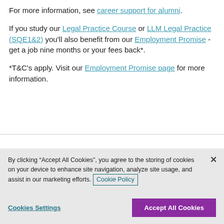For more information, see career support for alumni.
If you study our Legal Practice Course or LLM Legal Practice (SQE1&2) you'll also benefit from our Employment Promise - get a job nine months or your fees back*.
*T&C's apply. Visit our Employment Promise page for more information.
By clicking “Accept All Cookies”, you agree to the storing of cookies on your device to enhance site navigation, analyze site usage, and assist in our marketing efforts. Cookie Policy
Cookies Settings
Accept All Cookies